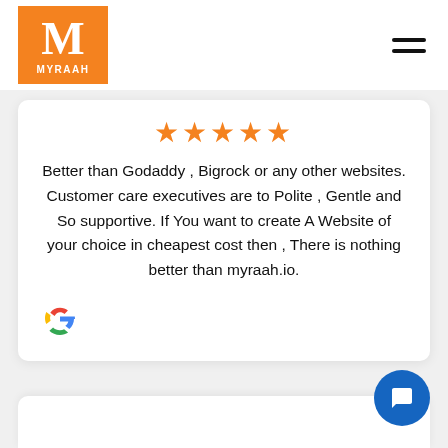[Figure (logo): Myraah logo: orange square with white M and MYRAAH text]
[Figure (infographic): Hamburger menu icon (three horizontal lines)]
[Figure (infographic): Five orange stars rating]
Better than Godaddy , Bigrock or any other websites. Customer care executives are to Polite , Gentle and So supportive. If You want to create A Website of your choice in cheapest cost then , There is nothing better than myraah.io.
[Figure (logo): Google G logo in multicolor]
[Figure (infographic): Blue circular chat/message button with white speech bubble icon]